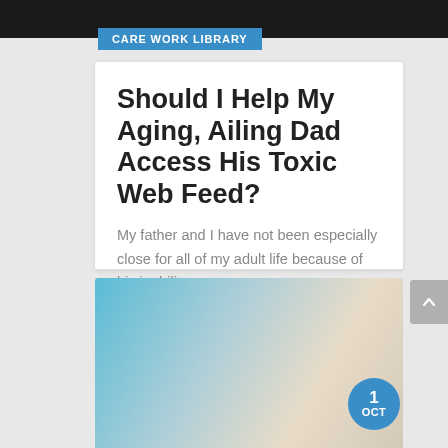CARE WORK LIBRARY
Should I Help My Aging, Ailing Dad Access His Toxic Web Feed?
My father and I have not been especially close for all of my adult life because of his inability...
External Article   0 Comments
[Figure (photo): Partial view of a photo with a date badge showing '1 OCT' in a blue circle, with a blurred outdoor scene background]